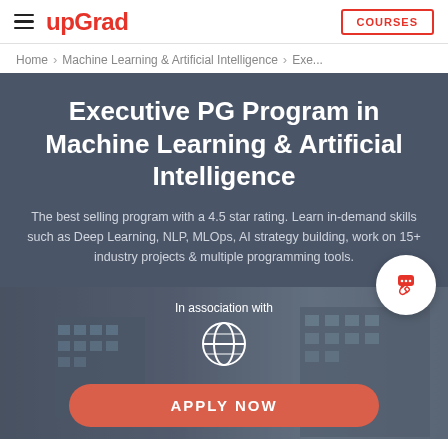upGrad | COURSES
Home > Machine Learning & Artificial Intelligence > Exe...
Executive PG Program in Machine Learning & Artificial Intelligence
The best selling program with a 4.5 star rating. Learn in-demand skills such as Deep Learning, NLP, MLOps, AI strategy building, work on 15+ industry projects & multiple programming tools.
[Figure (photo): Building/campus photo with 'In association with' text and globe icon overlay, and APPLY NOW button]
In association with
APPLY NOW